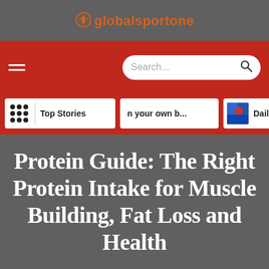globalsportone
[Figure (screenshot): Website navigation bar with hamburger menu and search box on red background]
[Figure (screenshot): Category tabs showing Top Stories, 'n your own b...', and 'Daily b...' on red background]
Protein Guide: The Right Protein Intake for Muscle Building, Fat Loss and Health